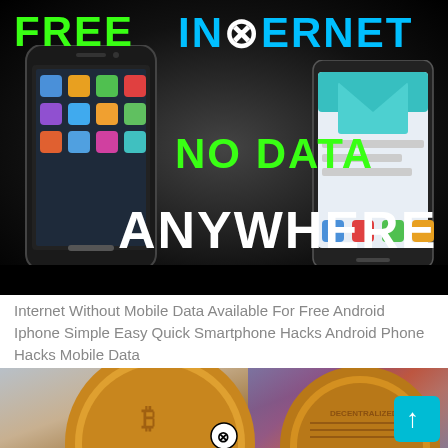[Figure (infographic): Dark background infographic with two smartphones and text: FREE INTERNET (green/cyan), NO DATA (green), ANYWHERE (white). Close button overlay. Black bar at bottom of image.]
Internet Without Mobile Data Available For Free Android Iphone Simple Easy Quick Smartphone Hacks Android Phone Hacks Mobile Data
[Figure (photo): Photo of Bitcoin gold coins with blurred colorful stock chart background. Close button overlay. Teal scroll-to-top button in bottom right corner.]